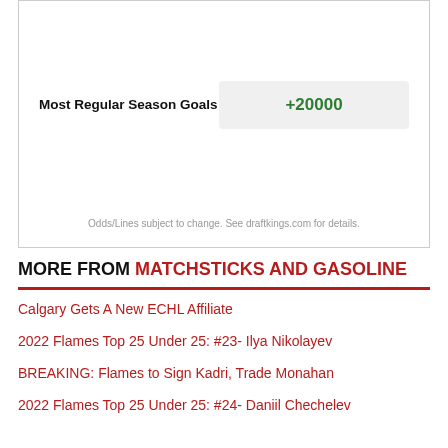| Bet Type | Odds |
| --- | --- |
| Most Regular Season Goals | +20000 |
Odds/Lines subject to change. See draftkings.com for details.
MORE FROM MATCHSTICKS AND GASOLINE
Calgary Gets A New ECHL Affiliate
2022 Flames Top 25 Under 25: #23- Ilya Nikolayev
BREAKING: Flames to Sign Kadri, Trade Monahan
2022 Flames Top 25 Under 25: #24- Daniil Chechelev